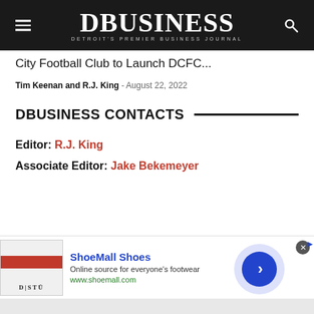DBusiness - Detroit's Premier Business Journal
City Football Club to Launch DCFC...
Tim Keenan and R.J. King - August 22, 2022
DBUSINESS CONTACTS
Editor: R.J. King
Associate Editor: Jake Bekemeyer
[Figure (infographic): Advertisement for ShoeMall Shoes showing shoe image, brand name in blue, description 'Online source for everyone's footwear', URL www.shoemall.com, and a navigation arrow button]